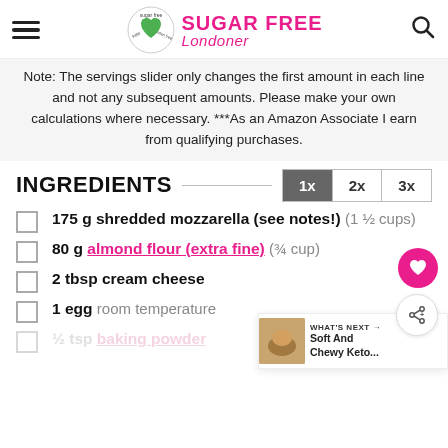Sugar Free Londoner
Note: The servings slider only changes the first amount in each line and not any subsequent amounts. Please make your own calculations where necessary. ***As an Amazon Associate I earn from qualifying purchases.
INGREDIENTS
175 g shredded mozzarella (see notes!) (1 ½ cups)
80 g almond flour (extra fine) (¾ cup)
2 tbsp cream cheese
1 egg room temperature
½ tsp baking powder